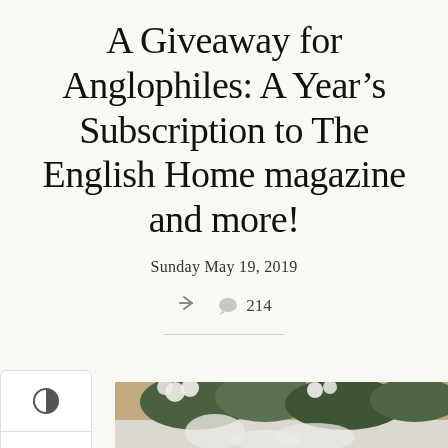A Giveaway for Anglophiles: A Year’s Subscription to The English Home magazine and more!
Sunday May 19, 2019
214
[Figure (photo): Photo of white flowers and green foliage, partially visible at the bottom of the page]